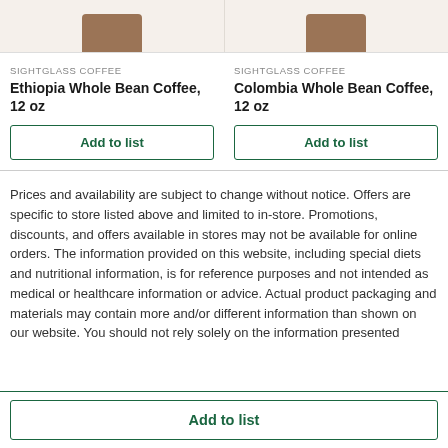[Figure (photo): Two coffee product images cropped at top, showing brown coffee bags side by side on beige background]
SIGHTGLASS COFFEE
Ethiopia Whole Bean Coffee, 12 oz
Add to list
SIGHTGLASS COFFEE
Colombia Whole Bean Coffee, 12 oz
Add to list
Prices and availability are subject to change without notice. Offers are specific to store listed above and limited to in-store. Promotions, discounts, and offers available in stores may not be available for online orders. The information provided on this website, including special diets and nutritional information, is for reference purposes and not intended as medical or healthcare information or advice. Actual product packaging and materials may contain more and/or different information than shown on our website. You should not rely solely on the information presented
Add to list